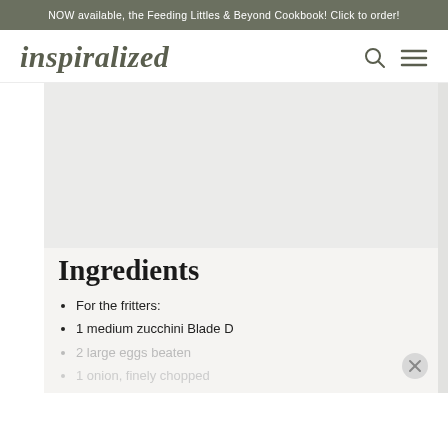NOW available, the Feeding Littles & Beyond Cookbook! Click to order!
inspiralized
[Figure (other): Large image area (recipe photo, mostly cropped/blank in this view)]
Ingredients
For the fritters:
1 medium zucchini Blade D
2 large eggs beaten
1 onion, finely chopped